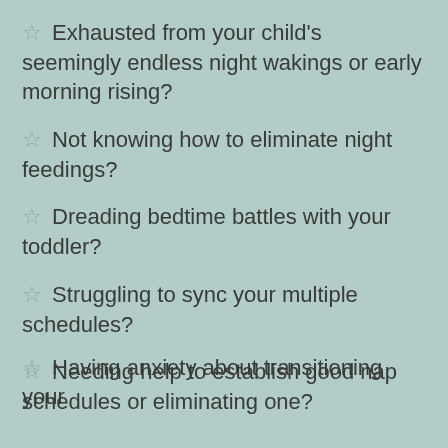Exhausted from your child's seemingly endless night wakings or early morning rising?
Not knowing how to eliminate night feedings?
Dreading bedtime battles with your toddler?
Struggling to sync your multiple schedules?
Needing help to establish good nap schedules or eliminating one?
Having anxiety about transitioning your